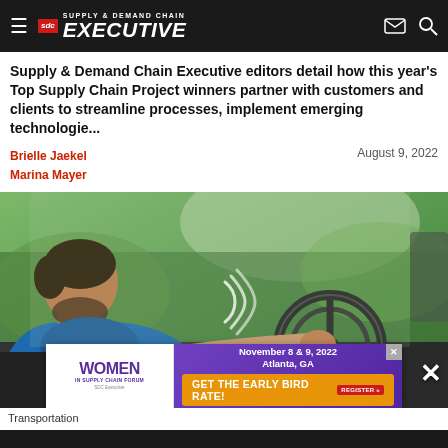Supply & Demand Chain Executive
Supply & Demand Chain Executive editors detail how this year's Top Supply Chain Project winners partner with customers and clients to streamline processes, implement emerging technologie...
Brielle Jaekel
Marina Mayer
August 9, 2022
[Figure (photo): A person in a blue shirt driving a vehicle, hand on steering wheel, viewed from the side. Green blurred background visible through window.]
Transportation